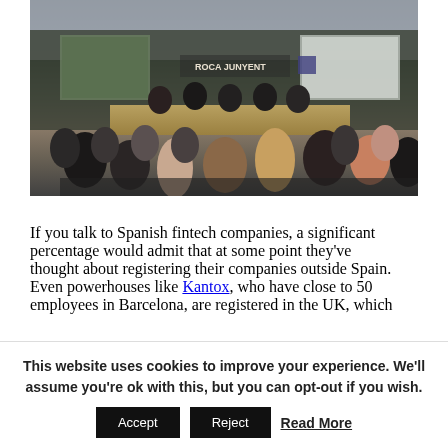[Figure (photo): A conference room scene at Roca Junyent with a panel of speakers at a front table and an audience of attendees seated facing them, with presentation screens visible in the background.]
If you talk to Spanish fintech companies, a significant percentage would admit that at some point they've thought about registering their companies outside Spain. Even powerhouses like Kantox, who have close to 50 employees in Barcelona, are registered in the UK, which
This website uses cookies to improve your experience. We'll assume you're ok with this, but you can opt-out if you wish.